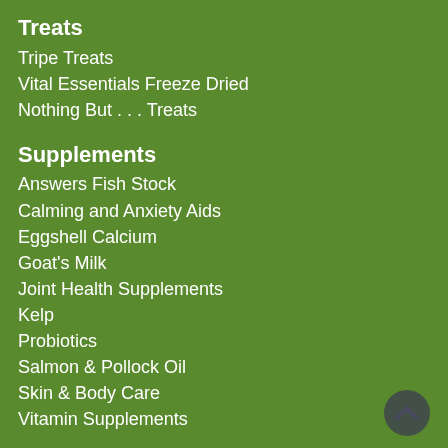Treats
Tripe Treats
Vital Essentials Freeze Dried
Nothing But . . . Treats
Supplements
Answers Fish Stock
Calming and Anxiety Aids
Eggshell Calcium
Goat's Milk
Joint Health Supplements
Kelp
Probiotics
Salmon & Pollock Oil
Skin & Body Care
Vitamin Supplements